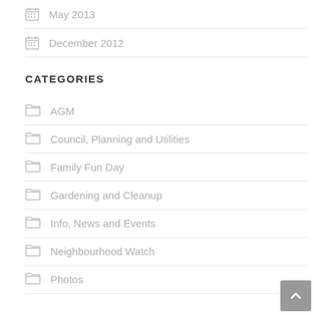May 2013
December 2012
CATEGORIES
AGM
Council, Planning and Utilities
Family Fun Day
Gardening and Cleanup
Info, News and Events
Neighbourhood Watch
Photos